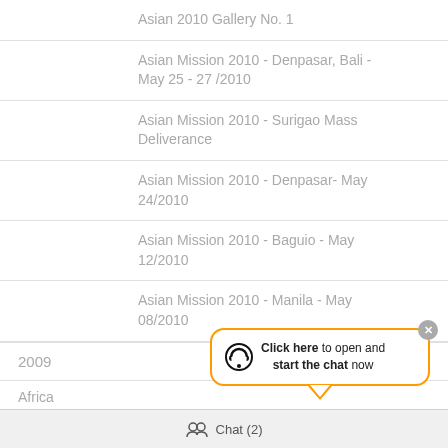Asian 2010 Gallery No. 1
Asian Mission 2010 - Denpasar, Bali - May 25 - 27 /2010
Asian Mission 2010 - Surigao Mass Deliverance
Asian Mission 2010 - Denpasar- May 24/2010
Asian Mission 2010 - Baguio - May 12/2010
Asian Mission 2010 - Manila - May 08/2010
2009
Africa
Africa Mission 2009
[Figure (screenshot): Chat popup bubble with headset icon saying 'Click here to open and start the chat now' with orange border and close button]
Chat (2)